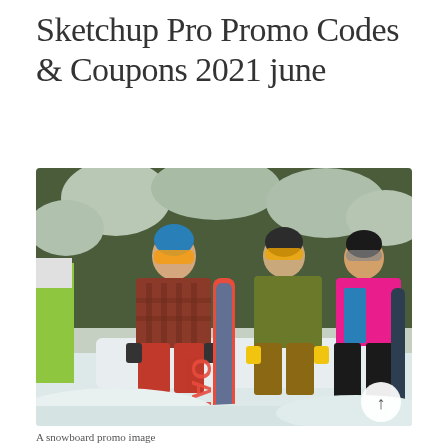Sketchup Pro Promo Codes & Coupons 2021 june
[Figure (photo): Group of snowboarders sitting on a snow ledge in a snowy forest, wearing colorful winter gear and helmets, holding snowboards.]
A snowboard promo image